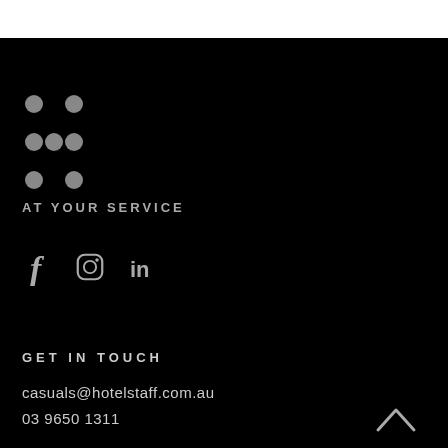[Figure (logo): Dot-grid logo icon made of 8 grey circles arranged in a pattern resembling the letter H]
AT YOUR SERVICE
[Figure (illustration): Social media icons: Facebook (f), Instagram (camera circle), LinkedIn (in)]
GET IN TOUCH
casuals@hotelstaff.com.au
03 9650 1311